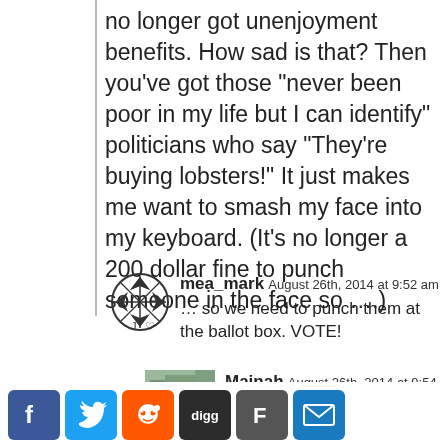no longer got unenjoyment benefits. How sad is that? Then you’ve got those “never been poor in my life but I can identify” politicians who say “They’re buying lobsters!” It just makes me want to smash my face into my keyboard. (It’s no longer a 200 dollar fine to punch someone in the face so ….)
mea_mark August 26th, 2014 at 9:52 am
… so we need to punch them at the ballot box. VOTE!
Mainah August 26th, 2014 at 9:54 am
Indeed! Let’s give them some “inversion” therapy. 3:)